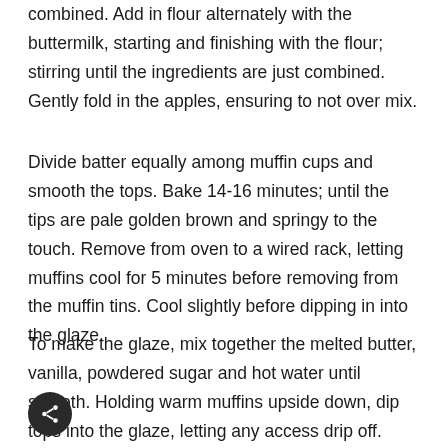combined. Add in flour alternately with the buttermilk, starting and finishing with the flour; stirring until the ingredients are just combined. Gently fold in the apples, ensuring to not over mix.
Divide batter equally among muffin cups and smooth the tops. Bake 14-16 minutes; until the tips are pale golden brown and springy to the touch. Remove from oven to a wired rack, letting muffins cool for 5 minutes before removing from the muffin tins. Cool slightly before dipping in into the glaze.
To make the glaze, mix together the melted butter, vanilla, powdered sugar and hot water until smooth. Holding warm muffins upside down, dip tops into the glaze, letting any access drip off. Return to wired rack to let the glaze harden. Dip muffins, into the glaze, a second time. Let harden before serving.